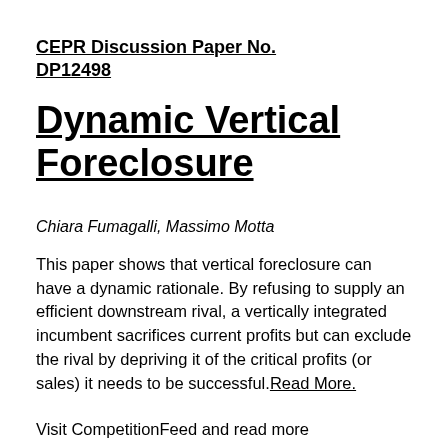CEPR Discussion Paper No. DP12498
Dynamic Vertical Foreclosure
Chiara Fumagalli, Massimo Motta
This paper shows that vertical foreclosure can have a dynamic rationale. By refusing to supply an efficient downstream rival, a vertically integrated incumbent sacrifices current profits but can exclude the rival by depriving it of the critical profits (or sales) it needs to be successful.Read More.
Visit CompetitionFeed and read more